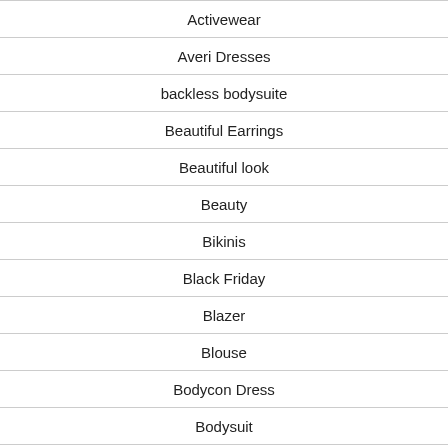Activewear
Averi Dresses
backless bodysuite
Beautiful Earrings
Beautiful look
Beauty
Bikinis
Black Friday
Blazer
Blouse
Bodycon Dress
Bodysuit